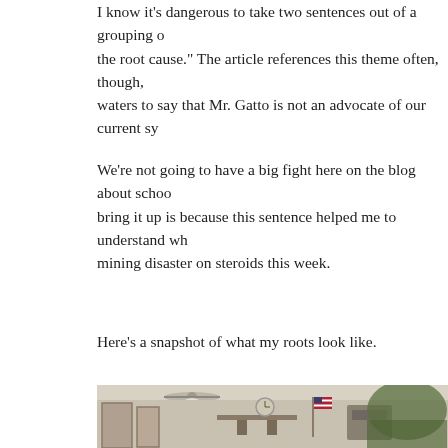I know it's dangerous to take two sentences out of a grouping of the root cause.” The article references this theme often, though, waters to say that Mr. Gatto is not an advocate of our current sy
We’re not going to have a big fight here on the blog about schoo bring it up is because this sentence helped me to understand why mining disaster on steroids this week.
Here’s a snapshot of what my roots look like.
[Figure (photo): Indoor community meeting room with people seated around tables. An American flag is visible in the background, along with a wall mural depicting a landscape and a clock on the wall. A ceiling fan is visible above. The crowd appears to be primarily older adults.]